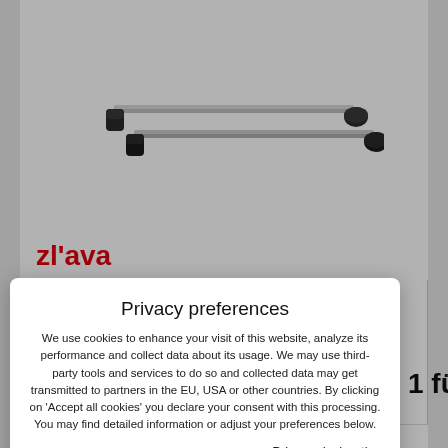[Figure (photo): Two silver/black roof rack bars (crossbars) on a white background, arranged diagonally]
zl'ava
Privacy preferences
We use cookies to enhance your visit of this website, analyze its performance and collect data about its usage. We may use third-party tools and services to do so and collected data may get transmitted to partners in the EU, USA or other countries. By clicking on 'Accept all cookies' you declare your consent with this processing. You may find detailed information or adjust your preferences below.
Privacy declaration
U 1 für
Show details
Accept all cookies
Ware auf Lager: 1-2 Tage